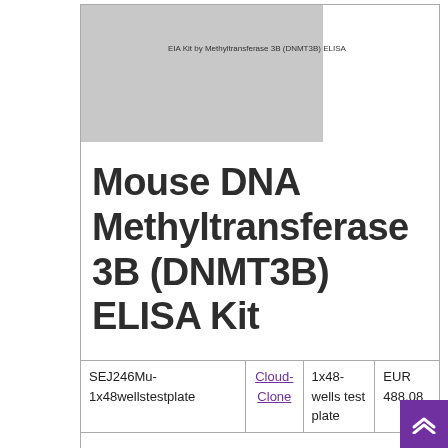[Figure (other): Gray placeholder image with label text 'EIA Kit by Methyltransferase 3B (DNMT3B) ELISA']
Mouse DNA Methyltransferase 3B (DNMT3B) ELISA Kit
|  |  |  |  |
| --- | --- | --- | --- |
| SEJ246Mu-1x48wellstestplate | Cloud-Clone | 1x48-wells test plate | EUR 488.08 |